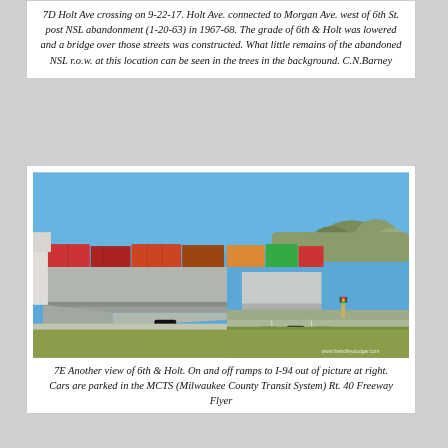7D Holt Ave crossing on 9-22-17. Holt Ave. connected to Morgan Ave. west of 6th St. post NSL abandonment (1-20-63) in 1967-68. The grade of 6th & Holt was lowered and a bridge over those streets was constructed. What little remains of the abandoned NSL r.o.w. at this location can be seen in the trees in the background. C.N.Barney
[Figure (photo): Street-level view of 6th & Holt intersection showing a concrete bridge/overpass with freight containers on top, cars on road below, green grass in foreground, blue sky, and trees in background. Watermark: www.thetrolleydodger.com]
7E Another view of 6th & Holt. On and off ramps to I-94 out of picture at right. Cars are parked in the MCTS (Milwaukee County Transit System) Rt. 40 Freeway Flyer